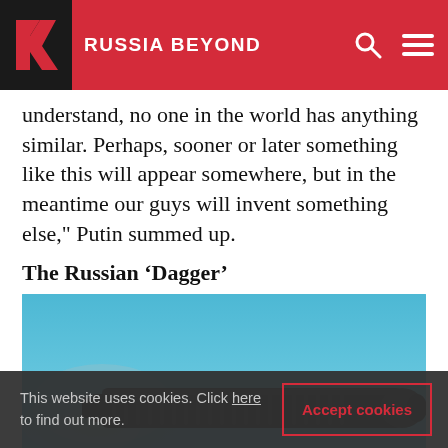RUSSIA BEYOND
understand, no one in the world has anything similar. Perhaps, sooner or later something like this will appear somewhere, but in the meantime our guys will invent something else," Putin summed up.
The Russian ‘Dagger’
[Figure (photo): Close-up photo of a dark missile or torpedo-like weapon against a blue background with smoke/vapor trail]
This website uses cookies. Click here to find out more.